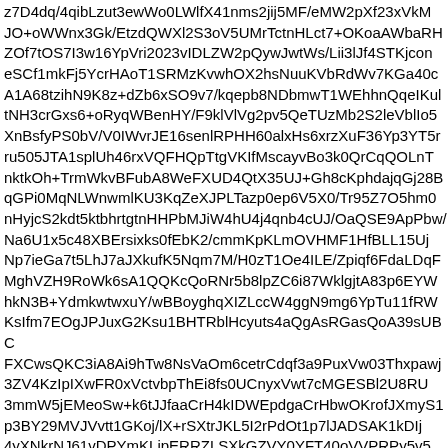z7D4dq/4qibLzut3ewWo0LWlfX41nms2jij5MF/eMW2pXf23xVkM
JO+oWWnx3Gk/EtzdQWXl2S3oV5UMrTctnHLct7+OKoaAWbaRH
ZOf7tOS7I3w16YpVri2023vIDLZW2pQywJwtWs/Lii3lJf4STKjcon
eSCf1mkFj5YcrHAoT1SRMzKvwhOX2hsNuuKVbRdWv7KGa40c
A1A68tzihN9K8z+dZb6xSO9v7/kqepb8NDbmwT1WEhhnQqeIKul
tNH3crGxs6+oRyqWBenHY/F9klVlVg2pv5QeTUzMb2S2leVblIo5
XnBsfyPS0bV/V0IWvrJE16senlRPHH60alxHs6xrzXuF36Yp3YT5r
ru505JTA1splUh46rxVQFHQpTtgVKIfMscayvBo3k0QrCqQOLnT
nktkOh+TrmWkvBFubA8WeFXUD4QtX35UJ+Gh8cKphdajqGj28B
qGPi0MqNLWnwmlKU3KqZeXJPLTazp0ep6V5X0/Tr95Z7O5hm0
nHyjcS2kdt5ktbhrtgtnHHPbMJiW4hU4j4qnb4cUJ/OaQSE9ApPbw/
Na6U1x5c48XBErsixks0fEbK2/cmmKpKLmOVHMF1HfBLL15Uj
Np7ieGa7t5LhJ7aJXkufK5Nqm7M/H0zT1Oe4ILE/Zpiqf6FdaLDqF
MghVZH9RoWk6sA1QQKcQoRNr5b8lpZC6i87WklgjtA83p6EYW
hkN3B+YdmkwtwxuY/wBBoyghqXIZLccW4ggN9mg6YpTu11fRW
KsIfm7EOgJPJuxG2Ksu1BHTRblHcyuts4aQgAsRGasQoA39sUBC
FXCwsQKC3iA8Ai9hTw8NsVaOm6cetrCdqf3a9PuxVw03Thxpawj
3ZV4KzIpIXwFR0xVctvbpThEi8fs0UCnyxVwt7cMGESBl2U8RU
3mmW5jEMeoSw+k6tJJfaaCrH4kIDWEpdgaCrHbwOKrofJXmyS1
p3BY29MVJVvtt1GKoj/lX+rSXtrJKL5I2rPdOt1p7lJADSAK1kDIj
4yXNkrNJ61vDPYmKLipERRZLSXkGZVY0YFT40oVVPRPy5v5
+op8RHxU4gAlhQ9Sqmd3+W1lcwpGdWv4mSJIvUj+pqWKOzNl
U8Tzyaik0gkUXkdsfToB8KejDD8NRX4qmuKplq3/AByrz/jBJ/xA4
47qLSvrsIJQUT1Prdvzbka0C+3uVUth8xefUtZfUvZZbn6xbwRKdl
iqvoHmjzpNZv+kHnSSeJ2guJ9IWIROisxqqXzh/tIopsSDvvsqhj5w8